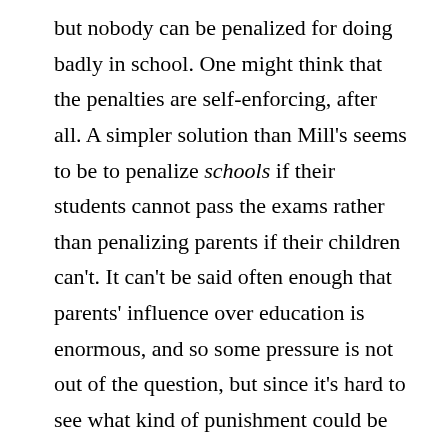but nobody can be penalized for doing badly in school. One might think that the penalties are self-enforcing, after all. A simpler solution than Mill's seems to be to penalize schools if their students cannot pass the exams rather than penalizing parents if their children can't. It can't be said often enough that parents' influence over education is enormous, and so some pressure is not out of the question, but since it's hard to see what kind of punishment could be fair to poor people whose children struggle in school, the simpler thing would be to require that schools produce a certain percentage of students who can